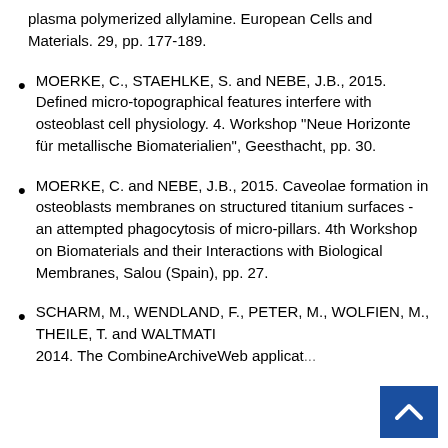plasma polymerized allylamine. European Cells and Materials. 29, pp. 177-189.
MOERKE, C., STAEHLKE, S. and NEBE, J.B., 2015. Defined micro-topographical features interfere with osteoblast cell physiology. 4. Workshop "Neue Horizonte für metallische Biomaterialien", Geesthacht, pp. 30.
MOERKE, C. and NEBE, J.B., 2015. Caveolae formation in osteoblasts membranes on structured titanium surfaces - an attempted phagocytosis of micro-pillars. 4th Workshop on Biomaterials and their Interactions with Biological Membranes, Salou (Spain), pp. 27.
SCHARM, M., WENDLAND, F., PETER, M., WOLFIEN, M., THEILE, T. and WALTMAT... 2014. The CombineArchiveWeb applicat...